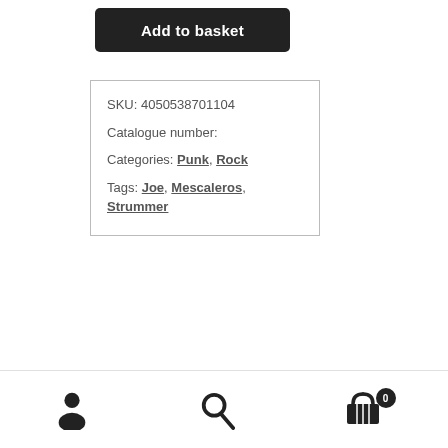Add to basket
| SKU: 4050538701104 |
| Catalogue number: |
| Categories: Punk, Rock |
| Tags: Joe, Mescaleros, Strummer |
User icon, Search icon, Basket icon with badge 0